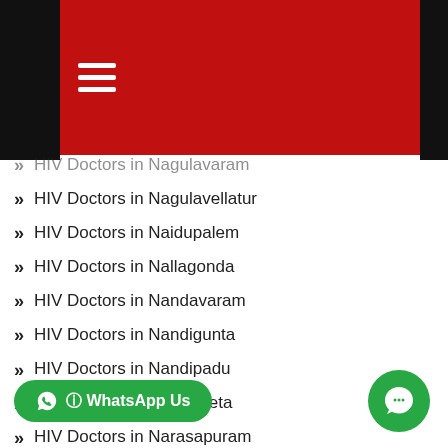HIV Doctors in Nagulavaram (partial)
HIV Doctors in Nagulavellatur
HIV Doctors in Naidupalem
HIV Doctors in Nallagonda
HIV Doctors in Nandavaram
HIV Doctors in Nandigunta
HIV Doctors in Nandipadu
HIV Doctors in Narampeta
HIV Doctors in Narasapuram
HIV Doctors in Narasimhapuram
HIV Doctors in Narasingaraopeta
HIV Doctors in Narayanappapeta
HIV Doctors in Narayanareddypeta
HIV Doctors in Narikellapalli
HIV Doctors in Narrawada
HIV Doctors in Narukuru
HIV Doctors in Nizamath Nawab Savalakh Gardens
HIV Doctors in Nizampet (partial)